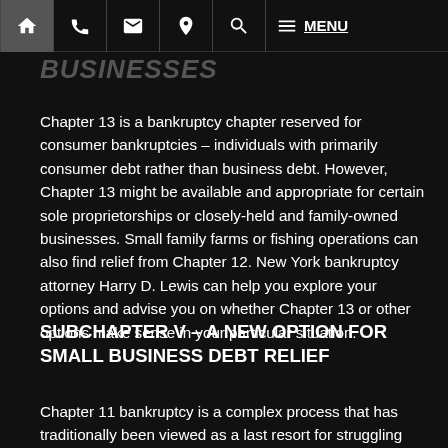MENU
Chapter 13 is a bankruptcy chapter reserved for consumer bankruptcies – individuals with primarily consumer debt rather than business debt. However, Chapter 13 might be available and appropriate for certain sole proprietorships or closely-held and family-owned businesses. Small family farms or fishing operations can also find relief from Chapter 12. New York bankruptcy attorney Harry D. Lewis can help you explore your options and advise you on whether Chapter 13 or other options make sense in your particular situation.
SUBCHAPTER V – A NEW OPTION FOR SMALL BUSINESS DEBT RELIEF
Chapter 11 bankruptcy is a complex process that has traditionally been viewed as a last resort for struggling businesses. Under the Small Business Reorganiz...